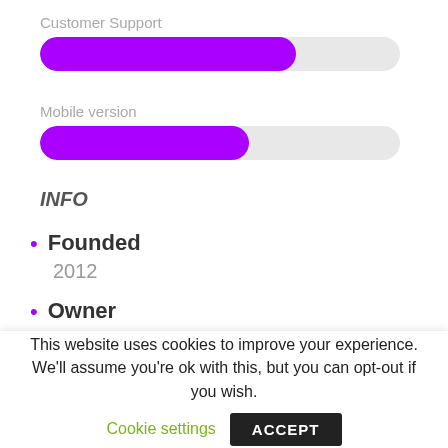Customer Support
[Figure (infographic): Horizontal progress bar for Customer Support, purple fill approximately 71% wide on a light grey track]
Mobile version
[Figure (infographic): Horizontal progress bar for Mobile version, purple fill approximately 58% wide on a light grey track]
INFO
Founded
2012
Owner
Agento Ltd
License
This website uses cookies to improve your experience. We'll assume you're ok with this, but you can opt-out if you wish.
Cookie settings
ACCEPT